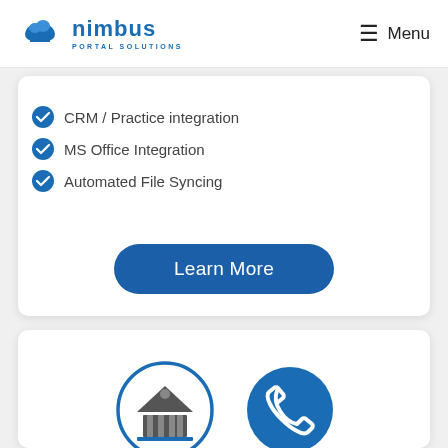nimbus PORTAL SOLUTIONS | Menu
CRM / Practice integration
MS Office Integration
Automated File Syncing
Learn More
[Figure (illustration): Two icons: a bank/institution building icon inside a blue circle outline, and a phone receiver icon inside a solid blue filled circle]